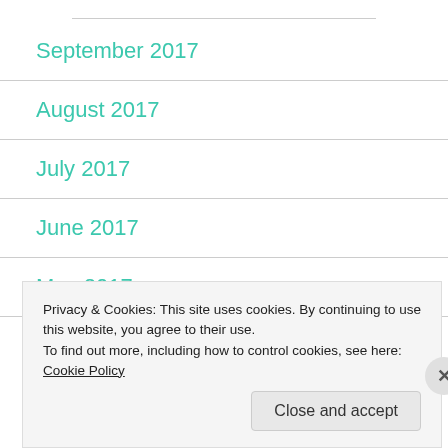September 2017
August 2017
July 2017
June 2017
May 2017
April 2017
Privacy & Cookies: This site uses cookies. By continuing to use this website, you agree to their use.
To find out more, including how to control cookies, see here: Cookie Policy
Close and accept